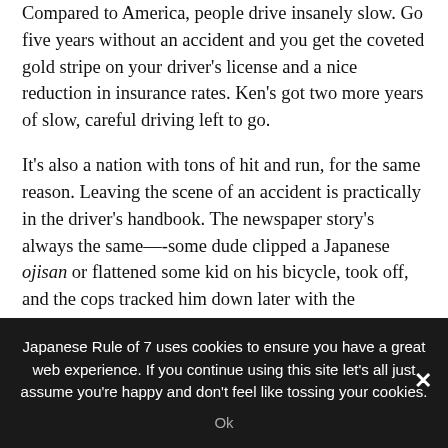Compared to America, people drive insanely slow. Go five years without an accident and you get the coveted gold stripe on your driver's license and a nice reduction in insurance rates. Ken's got two more years of slow, careful driving left to go.
It's also a nation with tons of hit and run, for the same reason. Leaving the scene of an accident is practically in the driver's handbook. The newspaper story's always the same—-some dude clipped a Japanese ojisan or flattened some kid on his bicycle, took off, and the cops tracked him down later with the surveillance footage.
That being said, I've probably seen an average of three
Japanese Rule of 7 uses cookies to ensure you have a great web experience. If you continue using this site let's all just assume you're happy and don't feel like tossing your cookies.